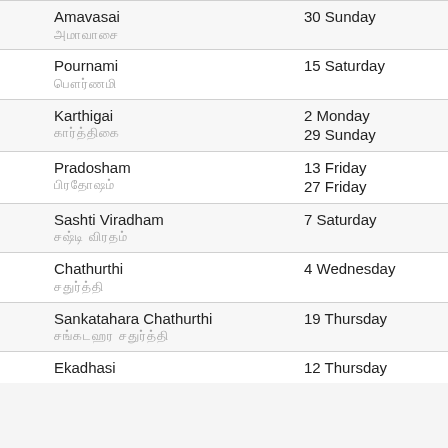| Event | Date |
| --- | --- |
| Amavasai / அமாவாசை | 30 Sunday |
| Pournami / பௌர்ணமி | 15 Saturday |
| Karthigai / கார்த்திகை | 2 Monday
29 Sunday |
| Pradosham / பிரதோஷம் | 13 Friday
27 Friday |
| Sashti Viradham / சஷ்டி விரதம் | 7 Saturday |
| Chathurthi / சதுர்த்தி | 4 Wednesday |
| Sankatahara Chathurthi / சங்கடஹர சதுர்த்தி | 19 Thursday |
| Ekadhasi / ஏகாதசி | 12 Thursday |